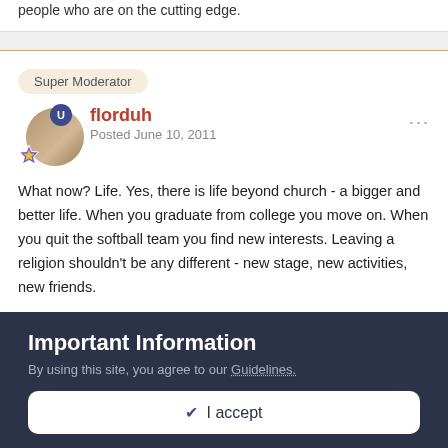people who are on the cutting edge.
Super Moderator
florduh
Posted June 10, 2011
What now? Life. Yes, there is life beyond church - a bigger and better life. When you graduate from college you move on. When you quit the softball team you find new interests. Leaving a religion shouldn't be any different - new stage, new activities, new friends.
Do things you enjoy and make friends with regular, normal people
Important Information
By using this site, you agree to our Guidelines.
✔ I accept